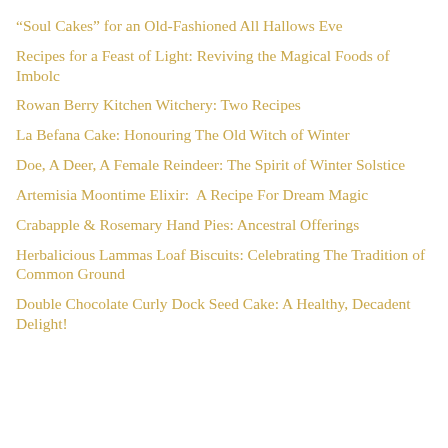"Soul Cakes" for an Old-Fashioned All Hallows Eve
Recipes for a Feast of Light: Reviving the Magical Foods of Imbolc
Rowan Berry Kitchen Witchery: Two Recipes
La Befana Cake: Honouring The Old Witch of Winter
Doe, A Deer, A Female Reindeer: The Spirit of Winter Solstice
Artemisia Moontime Elixir:  A Recipe For Dream Magic
Crabapple & Rosemary Hand Pies: Ancestral Offerings
Herbalicious Lammas Loaf Biscuits: Celebrating The Tradition of Common Ground
Double Chocolate Curly Dock Seed Cake: A Healthy, Decadent Delight!